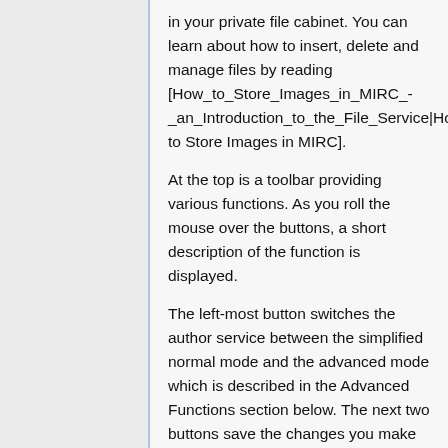in your private file cabinet. You can learn about how to insert, delete and manage files by reading [How_to_Store_Images_in_MIRC_-_an_Introduction_to_the_File_Service|How to Store Images in MIRC].
At the top is a toolbar providing various functions. As you roll the mouse over the buttons, a short description of the function is displayed.
The left-most button switches the author service between the simplified normal mode and the advanced mode which is described in the Advanced Functions section below. The next two buttons save the changes you make to the document and display the document in a separate browser window so you can see how the document will look to users who view it.